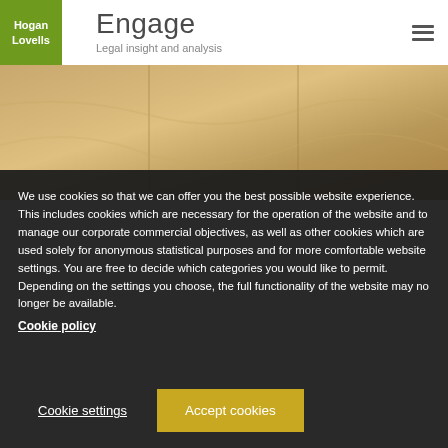[Figure (logo): Hogan Lovells logo — white text on green square background]
Engage
Legal insight and analysis
[Figure (photo): Hero image showing architectural details with warm tan/beige tones]
We use cookies so that we can offer you the best possible website experience. This includes cookies which are necessary for the operation of the website and to manage our corporate commercial objectives, as well as other cookies which are used solely for anonymous statistical purposes and for more comfortable website settings. You are free to decide which categories you would like to permit. Depending on the settings you choose, the full functionality of the website may no longer be available.
Cookie policy
Cookie settings
Accept cookies